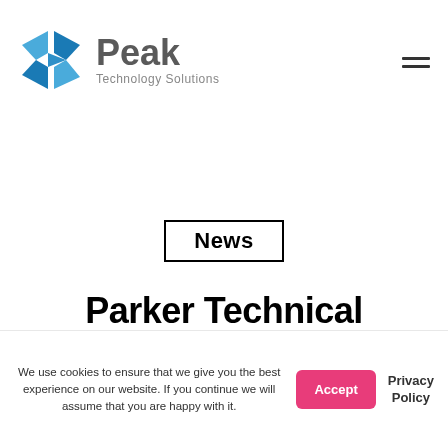[Figure (logo): Peak Technology Solutions logo with blue diamond/arrow icon and gray text]
News
Parker Technical Services appoints new regional director to support growth
We use cookies to ensure that we give you the best experience on our website. If you continue we will assume that you are happy with it.